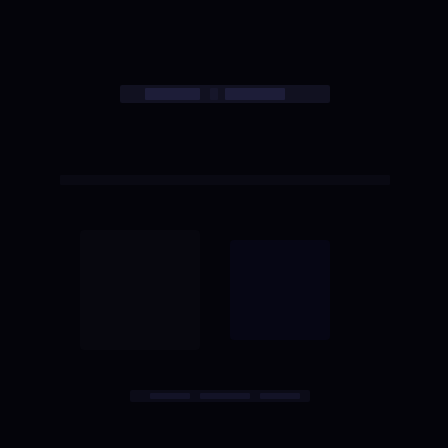[Figure (photo): A very dark, nearly black image with faint bluish-purple text or markings visible in the upper-center area and possibly some very faint content scattered throughout. The overall image is extremely underexposed or heavily darkened, making most content indiscernible.]